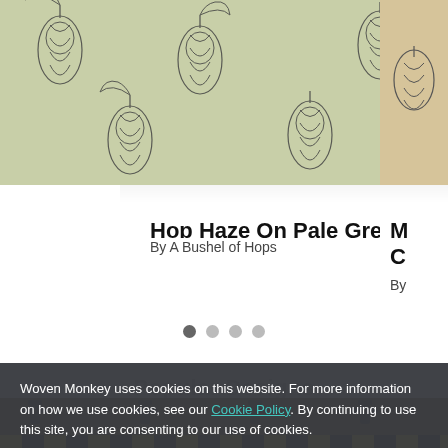[Figure (illustration): Hop plant illustration pattern on pale green background, repeating tiled design with hand-drawn hop cones and leaves]
Hop Haze On Pale Green
By A Bushel of Hops
[Figure (illustration): Partial view of another fabric design card on the right, cut off]
M
C
By
[Figure (other): Pagination dots: 4 dots, first one active/filled, rest lighter]
Woven Monkey uses cookies on this website. For more information on how we use cookies, see our Cookie Policy. By continuing to use this site, you are consenting to our use of cookies.
Accept
Popular Designs
View all popular designs
[Figure (illustration): Bottom partial image row with dark olive/yellow background showing repeating small figures, with black and yellow hazard stripe at bottom]